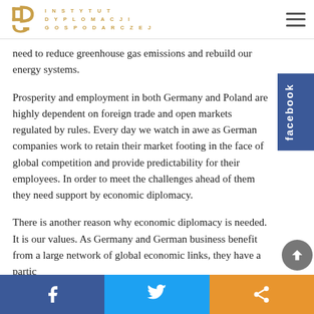INSTYTUT DYPLOMACJI GOSPODARCZEJ
need to reduce greenhouse gas emissions and rebuild our energy systems.
Prosperity and employment in both Germany and Poland are highly dependent on foreign trade and open markets regulated by rules. Every day we watch in awe as German companies work to retain their market footing in the face of global competition and provide predictability for their employees. In order to meet the challenges ahead of them they need support by economic diplomacy.
There is another reason why economic diplomacy is needed. It is our values. As Germany and German business benefit from a large network of global economic links, they have a partic…
facebook | share | share